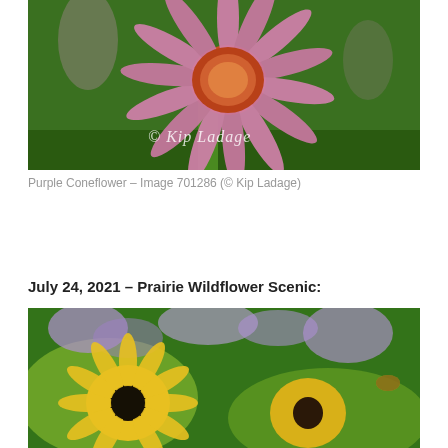[Figure (photo): Close-up photograph of a Purple Coneflower (Echinacea) with pink/purple petals radiating from an orange-red center, water droplets visible, green background, with watermark '© Kip Ladage']
Purple Coneflower – Image 701286 (© Kip Ladage)
July 24, 2021 – Prairie Wildflower Scenic:
[Figure (photo): Photograph of prairie wildflowers including purple asters/wild bergamot and yellow black-eyed Susans with dark centers, green foliage background, with a bumblebee visible]